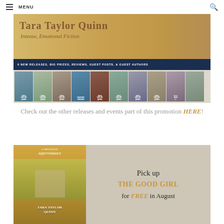MENU
[Figure (illustration): Tara Taylor Quinn promotional banner showing 'Intense, Emotional Fiction' with author photo and book spines, 6 NEW RELEASES, BIG PRIZES, REVIEWS, GUEST POSTS, & GUEST AUTHORS]
Check out the other releases and events part of this promotion HERE!
[Figure (illustration): Harlequin Superromance book cover for 'The Good Girl' by Tara Taylor Quinn with text: Pick up THE GOOD GIRL for FREE in August]